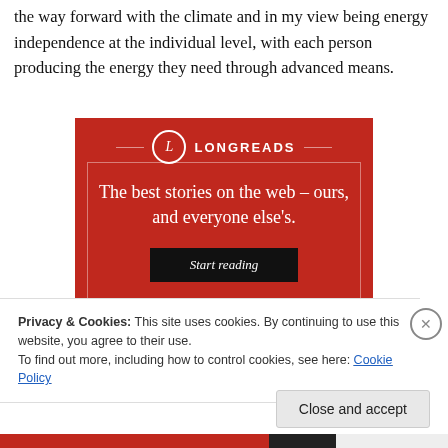the way forward with the climate and in my view being energy independence at the individual level, with each person producing the energy they need through advanced means.
[Figure (infographic): Longreads advertisement banner with red background. Shows the Longreads logo (circle with L) and the text 'The best stories on the web – ours, and everyone else's.' with a black 'Start reading' button.]
Privacy & Cookies: This site uses cookies. By continuing to use this website, you agree to their use.
To find out more, including how to control cookies, see here: Cookie Policy
Close and accept